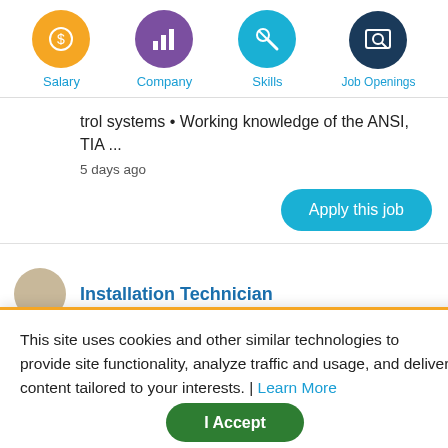[Figure (infographic): Navigation icons row: Salary (yellow circle with dollar sign), Company (purple circle with bar chart), Skills (blue circle with wrench/tools), Job Openings (dark blue circle with screen/search icon)]
trol systems • Working knowledge of the ANSI, TIA ...
5 days ago
Apply this job
Installation Technician
This site uses cookies and other similar technologies to provide site functionality, analyze traffic and usage, and deliver content tailored to your interests. | Learn More
I Accept